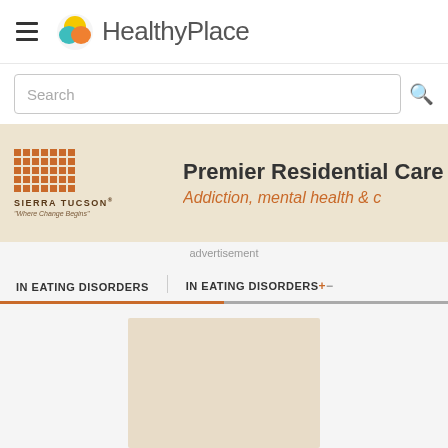HealthyPlace
Search
[Figure (screenshot): Sierra Tucson advertisement banner showing logo with orange dot grid pattern and text 'Premier Residential Care' and 'Addiction, mental health & c...' on beige background]
advertisement
IN EATING DISORDERS
IN EATING DISORDERS+−
[Figure (photo): Beige/cream colored image placeholder in content area]